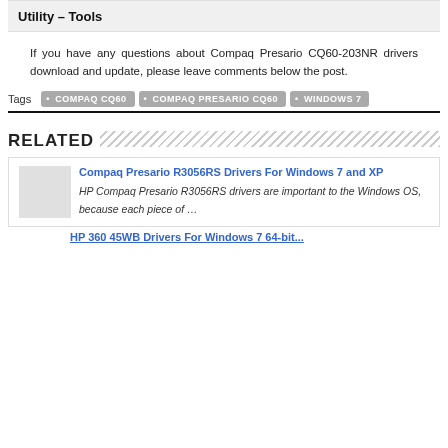Utility – Tools
If you have any questions about Compaq Presario CQ60-203NR drivers download and update, please leave comments below the post.
Tags  COMPAQ CQ60  COMPAQ PRESARIO CQ60  WINDOWS 7
RELATED
Compaq Presario R3056RS Drivers For Windows 7 and XP
HP Compaq Presario R3056RS drivers are important to the Windows OS, because each piece of …
HP 360 45WB Drivers For Windows 7 64-bit...